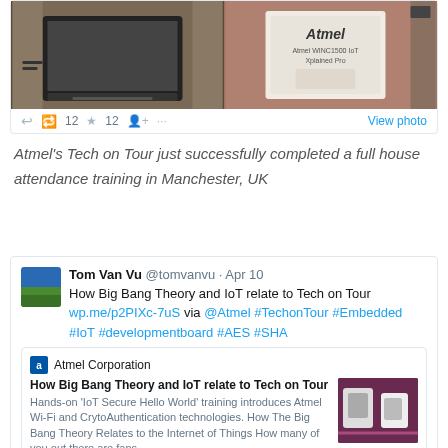[Figure (screenshot): Twitter post with two photos: a laptop on a desk and an Atmel product box, with tweet action icons showing retweet 12, favorite 12, and a View photo link]
Atmel's Tech on Tour just successfully completed a full house attendance training in Manchester, UK
[Figure (screenshot): Twitter post by Tom Van Vu @tomvanvu Apr 10: How Big Bang Theory and IoT relate to Tech on Tour wp.me/p2PIXc-7uS via @Atmel #TechonTour #Embedded #IoT #developmentboard #AES #SHA, with an embedded Atmel Corporation article card]
BLE, WIFI, IoT, IOE, ToT, OMG! How does Big Bang Theory and IoT relate to Tech on Tour?